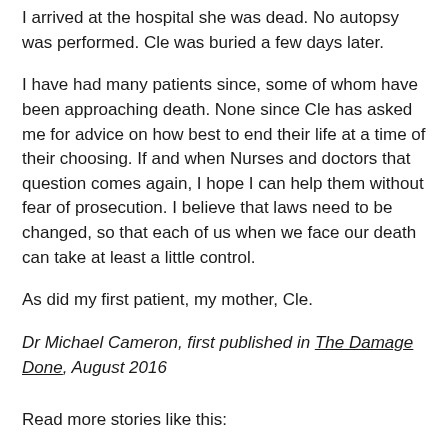I arrived at the hospital she was dead. No autopsy was performed. Cle was buried a few days later.
I have had many patients since, some of whom have been approaching death. None since Cle has asked me for advice on how best to end their life at a time of their choosing. If and when Nurses and doctors that question comes again, I hope I can help them without fear of prosecution. I believe that laws need to be changed, so that each of us when we face our death can take at least a little control.
As did my first patient, my mother, Cle.
Dr Michael Cameron, first published in The Damage Done, August 2016
Read more stories like this: